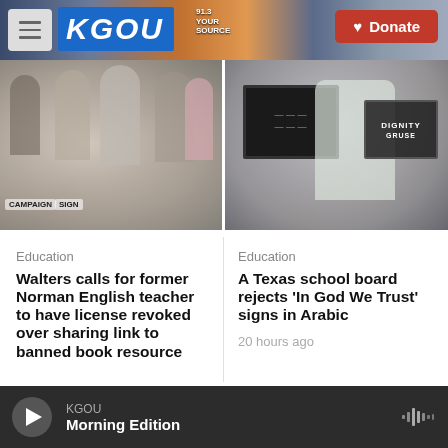KGOU | Donate
[Figure (photo): Left photo: Group of people holding campaign signs]
[Figure (photo): Right photo: Person holding framed sign with DIGNITY and other text]
Education
Walters calls for former Norman English teacher to have license revoked over sharing link to banned book resource
Education
A Texas school board rejects 'In God We Trust' signs in Arabic
20 hours ago
KGOU Morning Edition